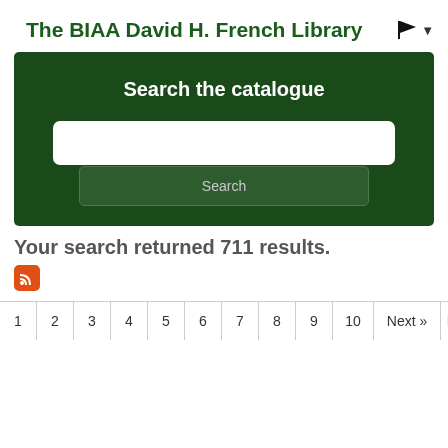The BIAA David H. French Library
[Figure (screenshot): Search the catalogue banner with dark green background, text input field, and Search button]
Your search returned 711 results.
[Figure (other): RSS feed icon (orange square with RSS symbol)]
1  2  3  4  5  6  7  8  9  10  Next »  Last